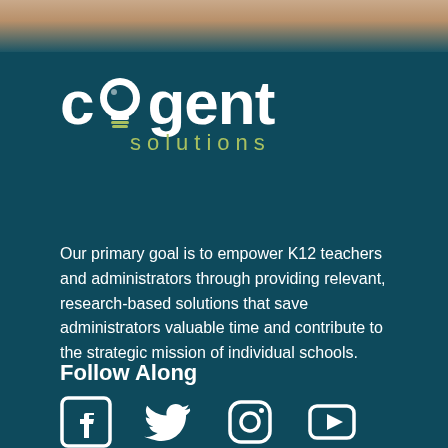[Figure (logo): Cogent Solutions logo — white 'cogent' wordmark with a lightbulb replacing the 'o', and olive-green 'solutions' text below]
Our primary goal is to empower K12 teachers and administrators through providing relevant, research-based solutions that save administrators valuable time and contribute to the strategic mission of individual schools.
Follow Along
[Figure (illustration): Social media icons: Facebook, Twitter, Instagram, YouTube — white on dark teal background]